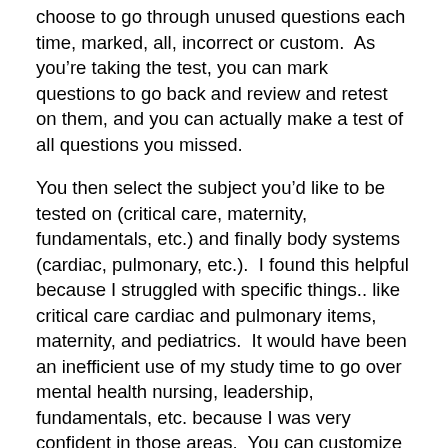choose to go through unused questions each time, marked, all, incorrect or custom.  As you're taking the test, you can mark questions to go back and review and retest on them, and you can actually make a test of all questions you missed.
You then select the subject you'd like to be tested on (critical care, maternity, fundamentals, etc.) and finally body systems (cardiac, pulmonary, etc.).  I found this helpful because I struggled with specific things.. like critical care cardiac and pulmonary items, maternity, and pediatrics.  It would have been an inefficient use of my study time to go over mental health nursing, leadership, fundamentals, etc. because I was very confident in those areas.  You can customize your tests to your needs.  Additionally, you can also “select all” for both